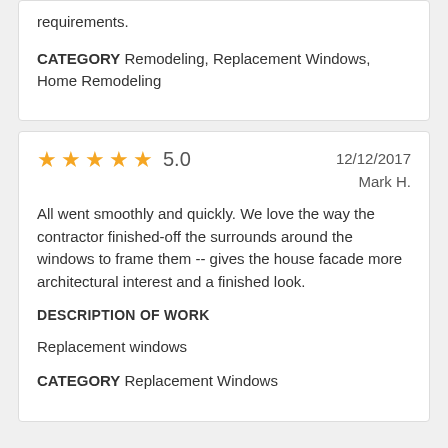requirements.
CATEGORY Remodeling, Replacement Windows, Home Remodeling
5.0  12/12/2017  Mark H.
All went smoothly and quickly. We love the way the contractor finished-off the surrounds around the windows to frame them -- gives the house facade more architectural interest and a finished look.
DESCRIPTION OF WORK
Replacement windows
CATEGORY Replacement Windows